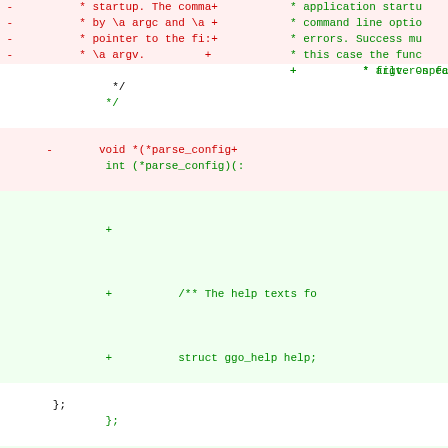[Figure (screenshot): Source code diff view showing two columns of code changes. Left column shows removed lines in red on light red background, right column shows added lines in green on light green background. Contains C code diff with function signatures, struct definitions, and macro definitions. A magenta hunk header line reads '@@ -218,55 +218,9 @@ static inline void write_int16_host_end'. Bottom section shows removed lines for filter-related declarations.]